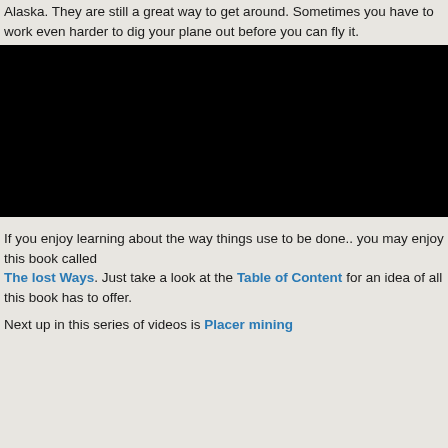Alaska. They are still a great way to get around. Sometimes you have to work even harder to dig your plane out before you can fly it.
[Figure (photo): Black rectangle representing an embedded video player showing a dark/black screen]
If you enjoy learning about the way things use to be done.. you may enjoy this book called The lost Ways. Just take a look at the Table of Content for an idea of all this book has to offer.
Next up in this series of videos is Placer mining